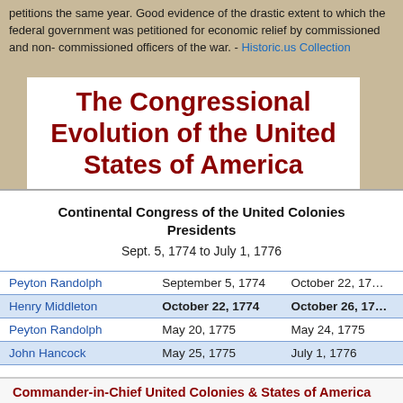petitions the same year. Good evidence of the drastic extent to which the federal government was petitioned for economic relief by commissioned and non- commissioned officers of the war. - Historic.us Collection
The Congressional Evolution of the United States of America
Continental Congress of the United Colonies Presidents
Sept. 5, 1774 to July 1, 1776
| Name | Start Date | End Date |
| --- | --- | --- |
| Peyton Randolph | September 5, 1774 | October 22, 17… |
| Henry Middleton | October 22, 1774 | October 26, 17… |
| Peyton Randolph | May 20, 1775 | May 24, 1775 |
| John Hancock | May 25, 1775 | July 1, 1776 |
Commander-in-Chief United Colonies & States of America